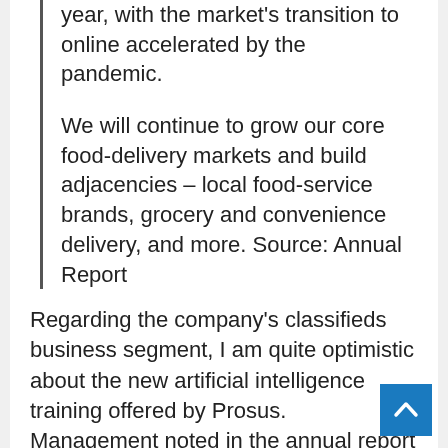year, with the market's transition to online accelerated by the pandemic.

We will continue to grow our core food-delivery markets and build adjacencies – local food-service brands, grocery and convenience delivery, and more. Source: Annual Report
Regarding the company's classifieds business segment, I am quite optimistic about the new artificial intelligence training offered by Prosus. Management noted in the annual report that the company's machine learning capabilities enhanced personalized recommendations to users. In my opinion, if investments in AI technology continue, and it is also used in other companies owned by Prosus, revenue growth